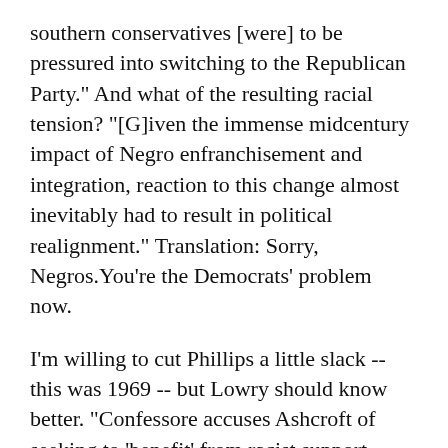southern conservatives [were] to be pressured into switching to the Republican Party." And what of the resulting racial tension? "[G]iven the immense midcentury impact of Negro enfranchisement and integration, reaction to this change almost inevitably had to result in political realignment." Translation: Sorry, Negros. You're the Democrats' problem now.
I'm willing to cut Phillips a little slack -- this was 1969 -- but Lowry should know better. "Confessore accuses Ashcroft of seeking to 'benefit' from racist support without bothering, say, to argue why it was actually wrong to oppose Ronnie White, or why court-ordered busing in Missouri . . . actually helped black kids, or why quotas and race preferences don't represent a betrayal of America's ideals." Lowry's missing my point entirely (and